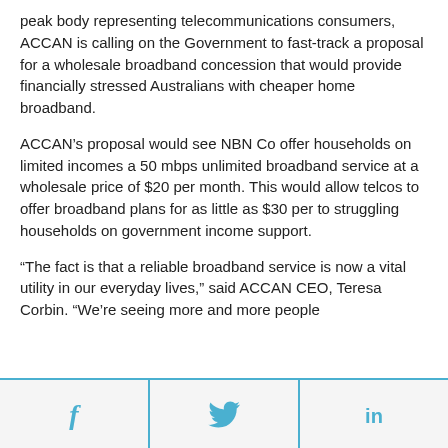peak body representing telecommunications consumers, ACCAN is calling on the Government to fast-track a proposal for a wholesale broadband concession that would provide financially stressed Australians with cheaper home broadband.
ACCAN's proposal would see NBN Co offer households on limited incomes a 50 mbps unlimited broadband service at a wholesale price of $20 per month. This would allow telcos to offer broadband plans for as little as $30 per to struggling households on government income support.
“The fact is that a reliable broadband service is now a vital utility in our everyday lives,” said ACCAN CEO, Teresa Corbin. “We’re seeing more and more people
[Figure (other): Social sharing buttons: Facebook (f), Twitter (bird icon), LinkedIn (in)]